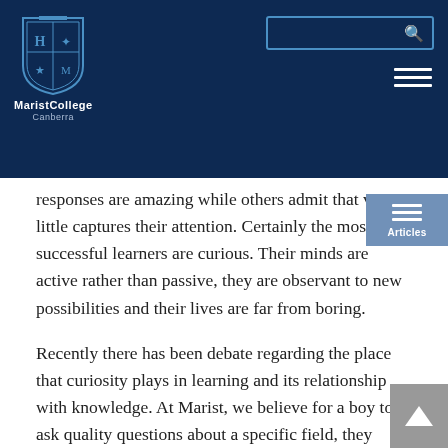[Figure (logo): Marist College Canberra logo — shield crest in blue and white with text 'MaristCollege Canberra' below]
responses are amazing while others admit that very little captures their attention. Certainly the most successful learners are curious. Their minds are active rather than passive, they are observant to new possibilities and their lives are far from boring.
Recently there has been debate regarding the place that curiosity plays in learning and its relationship with knowledge. At Marist, we believe for a boy to ask quality questions about a specific field, they must first possess a sufficient level of knowledge of that field. It is a pedagogical model that begins with teacher-to-student transfer of knowledge and moves opportunities for questions and curiosity to subsequent parts of the learning journey. For us, the